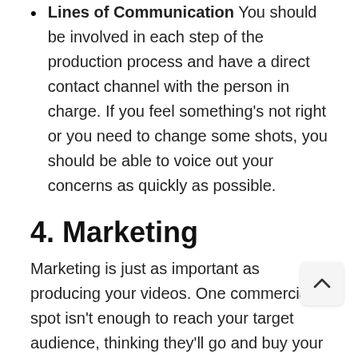Lines of Communication You should be involved in each step of the production process and have a direct contact channel with the person in charge. If you feel something's not right or you need to change some shots, you should be able to voice out your concerns as quickly as possible.
4. Marketing
Marketing is just as important as producing your videos. One commercial spot isn't enough to reach your target audience, thinking they'll go and buy your products the next day.
Promoting your business is an ongoing process. When you hire a company for video production, ask about marketing